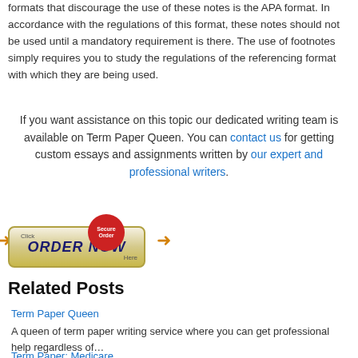formats that discourage the use of these notes is the APA format. In accordance with the regulations of this format, these notes should not be used until a mandatory requirement is there. The use of footnotes simply requires you to study the regulations of the referencing format with which they are being used.
If you want assistance on this topic our dedicated writing team is available on Term Paper Queen. You can contact us for getting custom essays and assignments written by our expert and professional writers.
[Figure (illustration): Orange arrow button with 'ORDER NOW' text in dark blue bold italic, arrows on each side, and a red circular 'Secure Order' badge above]
Related Posts
Term Paper Queen
A queen of term paper writing service where you can get professional help regardless of...
Term Paper: Medicare